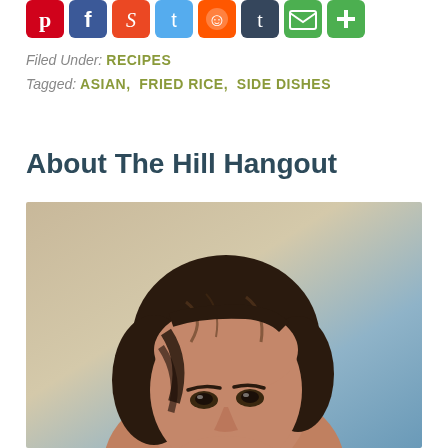[Figure (other): Row of social media sharing icon buttons: Pinterest (red), Facebook (blue), StumbleUpon (orange/red), Twitter (light blue), Reddit (orange), Tumblr (dark blue), Email (green), Add/plus (green)]
Filed Under: RECIPES
Tagged: ASIAN, FRIED RICE, SIDE DISHES
About The Hill Hangout
[Figure (photo): Close-up portrait photo of a woman with short dark brown hair, looking slightly upward, with a blurred outdoor background in warm beige and blue tones]